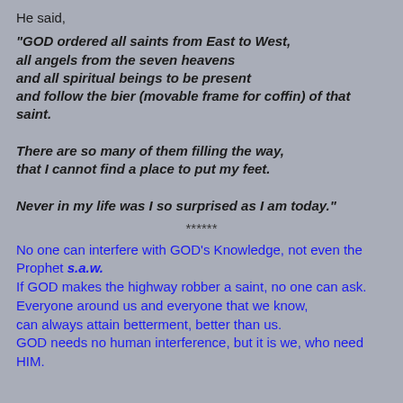He said,
"GOD ordered all saints from East to West, all angels from the seven heavens and all spiritual beings to be present and follow the bier (movable frame for coffin) of that saint.

There are so many of them filling the way, that I cannot find a place to put my feet.

Never in my life was I so surprised as I am today."
******
No one can interfere with GOD's Knowledge, not even the Prophet s.a.w.
If GOD makes the highway robber a saint, no one can ask.
Everyone around us and everyone that we know, can always attain betterment, better than us.
GOD needs no human interference, but it is we, who need HIM.